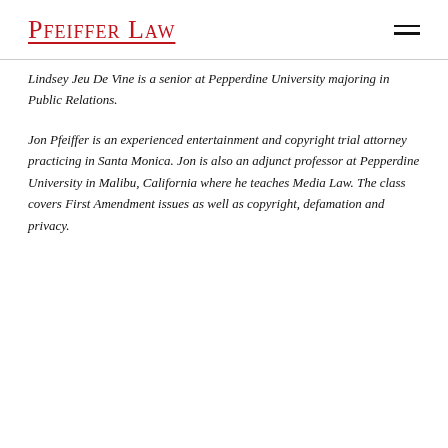Pfeiffer Law
Lindsey Jeu De Vine is a senior at Pepperdine University majoring in Public Relations.
Jon Pfeiffer is an experienced entertainment and copyright trial attorney practicing in Santa Monica. Jon is also an adjunct professor at Pepperdine University in Malibu, California where he teaches Media Law. The class covers First Amendment issues as well as copyright, defamation and privacy.